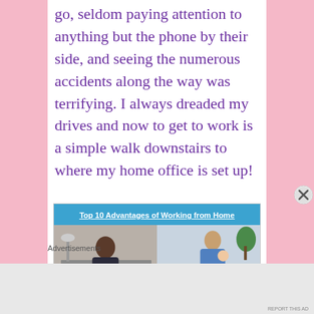go, seldom paying attention to anything but the phone by their side, and seeing the numerous accidents along the way was terrifying. I always dreaded my drives and now to get to work is a simple walk downstairs to where my home office is set up!
[Figure (screenshot): Advertisement banner for 'Top 10 Advantages of Working from Home' showing two photos: a woman working at a home desk and a man holding a baby while working on a laptop. Below the images: '1. Flexible schedule' and '6. No office distractions'.]
Advertisements